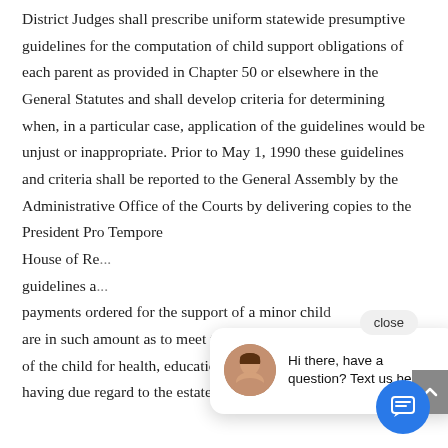District Judges shall prescribe uniform statewide presumptive guidelines for the computation of child support obligations of each parent as provided in Chapter 50 or elsewhere in the General Statutes and shall develop criteria for determining when, in a particular case, application of the guidelines would be unjust or inappropriate. Prior to May 1, 1990 these guidelines and criteria shall be reported to the General Assembly by the Administrative Office of the Courts by delivering copies to the President Pro Tempore... House of Re... guidelines a... payments ordered for the support of a minor child are in such amount as to meet the reasonable of the child for health, education, and mainten... having due regard to the estates, earnings,